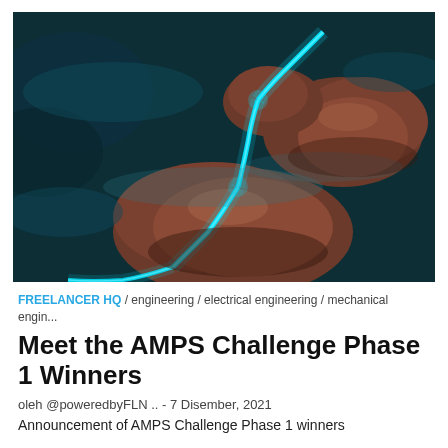[Figure (photo): Aerial coastal photo showing rocky cliffs and glowing cyan/teal light trails winding through dark ocean water at night or dusk]
FREELANCER HQ / engineering / electrical engineering / mechanical engin...
Meet the AMPS Challenge Phase 1 Winners
oleh @poweredbyFLN .. - 7 Disember, 2021
Announcement of AMPS Challenge Phase 1 winners